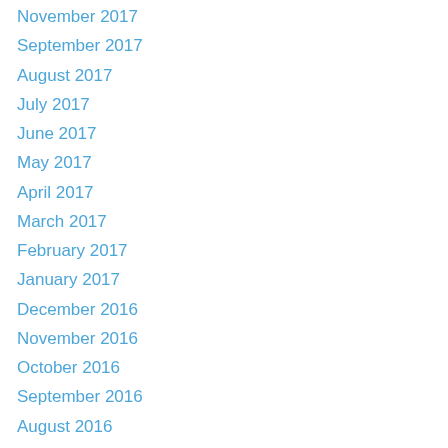November 2017
September 2017
August 2017
July 2017
June 2017
May 2017
April 2017
March 2017
February 2017
January 2017
December 2016
November 2016
October 2016
September 2016
August 2016
June 2016
May 2016
April 2016
March 2016
January 2016